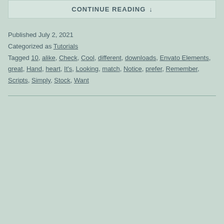CONTINUE READING ↓
Published July 2, 2021
Categorized as Tutorials
Tagged 10, alike, Check, Cool, different, downloads, Envato Elements, great, Hand, heart, It's, Looking, match, Notice, prefer, Remember, Scripts, Simply, Stock, Want